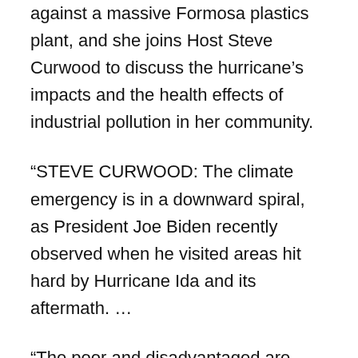against a massive Formosa plastics plant, and she joins Host Steve Curwood to discuss the hurricane's impacts and the health effects of industrial pollution in her community.
“STEVE CURWOOD: The climate emergency is in a downward spiral, as President Joe Biden recently observed when he visited areas hit hard by Hurricane Ida and its aftermath. …
“The poor and disadvantaged are especially hard hit from big cities to places like former farmland along the Mississippi. This 85 mile stretch between Baton Rouge and New Orleans is called Cancer Alley, and it’s the site of some of 150 petrochemical plants, a notorious source of toxic chemicals for locals on a normal day. But in the aftermath of Hurricane Ida many plants released even